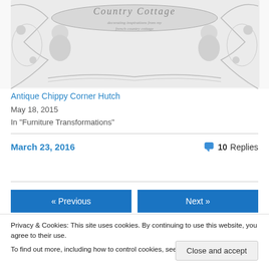[Figure (illustration): Decorative engraving header image for 'French Country Cottage' blog — ornate baroque-style illustration with cherubs, scrollwork, and a banner reading 'Country Cottage' with subtitle 'decorating inspirations from my french country cottage']
Antique Chippy Corner Hutch
May 18, 2015
In "Furniture Transformations"
March 23, 2016     10 Replies
« Previous
Next »
Privacy & Cookies: This site uses cookies. By continuing to use this website, you agree to their use.
To find out more, including how to control cookies, see here: Cookie Policy
Close and accept